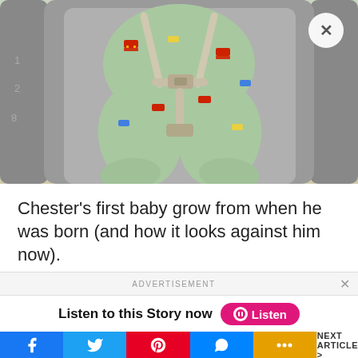[Figure (photo): Close-up photo of a baby in a grey car seat, wearing a light green baby grow with small vehicle/bus prints. The baby's chubby legs are visible along with grey harness straps and a buckle. A white circular close button with an X is visible in the top-right corner of the photo.]
Chester's first baby grow from when he was born (and how it looks against him now).
ADVERTISEMENT
Listen to this Story now  Listen
NEXT ARTICLE >